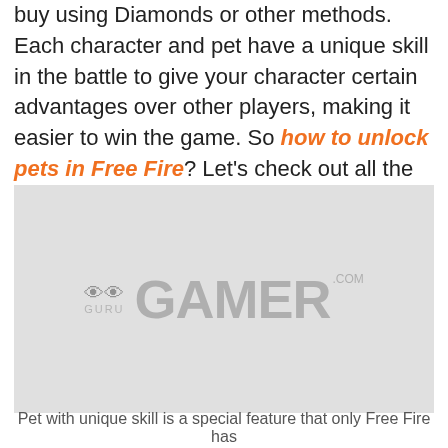buy using Diamonds or other methods. Each character and pet have a unique skill in the battle to give your character certain advantages over other players, making it easier to win the game. So how to unlock pets in Free Fire? Let's check out all the best ways below.
[Figure (photo): Gray placeholder image with GuruGamer.com watermark logo in the center]
Pet with unique skill is a special feature that only Free Fire has